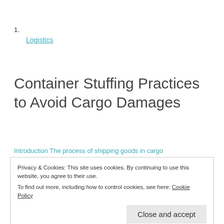1.
Logistics
Container Stuffing Practices to Avoid Cargo Damages
Introduction The process of shipping goods in cargo
Privacy & Cookies: This site uses cookies. By continuing to use this website, you agree to their use.
To find out more, including how to control cookies, see here: Cookie Policy
Close and accept